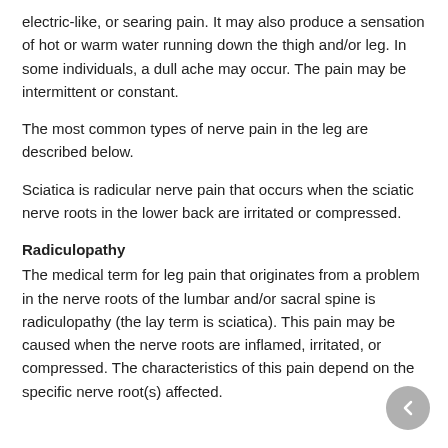electric-like, or searing pain. It may also produce a sensation of hot or warm water running down the thigh and/or leg. In some individuals, a dull ache may occur. The pain may be intermittent or constant.
The most common types of nerve pain in the leg are described below.
Sciatica is radicular nerve pain that occurs when the sciatic nerve roots in the lower back are irritated or compressed.
Radiculopathy
The medical term for leg pain that originates from a problem in the nerve roots of the lumbar and/or sacral spine is radiculopathy (the lay term is sciatica). This pain may be caused when the nerve roots are inflamed, irritated, or compressed. The characteristics of this pain depend on the specific nerve root(s) affected.